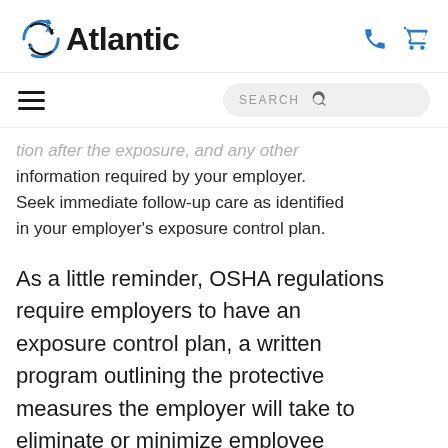[Figure (logo): Atlantic company logo with circular arrow design and 'Atlantic' text]
...tion after the exposure, and any other information required by your employer. Seek immediate follow-up care as identified in your employer's exposure control plan.
As a little reminder, OSHA regulations require employers to have an exposure control plan, a written program outlining the protective measures the employer will take to eliminate or minimize employee